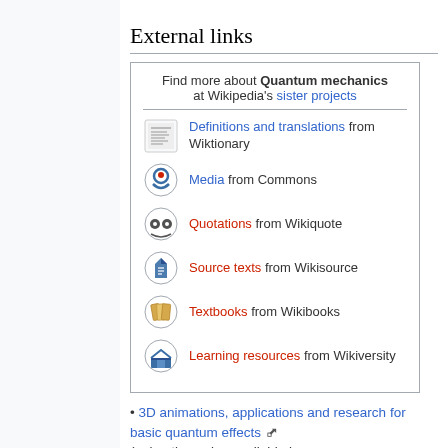External links
[Figure (infographic): Wikipedia sister projects box for Quantum mechanics, listing: Definitions and translations from Wiktionary, Media from Commons, Quotations from Wikiquote, Source texts from Wikisource, Textbooks from Wikibooks, Learning resources from Wikiversity]
3D animations, applications and research for basic quantum effects (animations also available in commons.wikimedia.org (Université paris Sud))
Quantum Cook Book by R.